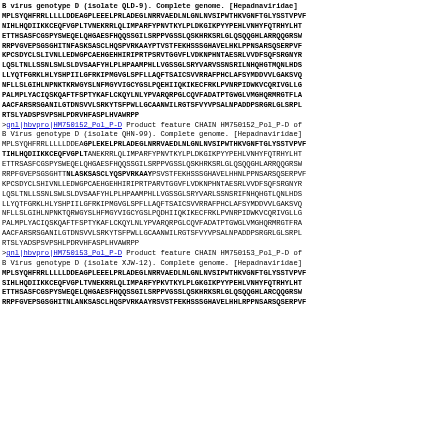B virus genotype D (isolate QLD-9). Complete genome. [Hepadnaviridae]
MPLSYQHFRRLLLLLDDEAGPLEEELPRLADEGLNRRVAEDLNLGNLNVSIPWTHKVGNFTGLYSSTVPVF NIHLHQDIIKKCEQFVGPLTVNEKRRLQLIMPARFYPNVTKYLPLDKGIKPYYPEHLVNHYFQTRHYLHT ETTHSASFCGSPYSWEQELQHGAESFHQQSSGILSRPPVGSSLQSKHRKSRLGLQSQQGHLARRQQGRSW RRPVGVEPSGSGHITNFASKSASCLHQSPVRKAAYPTVSTFEKHSSSGHAVELHKLPPNSARSQSERPVF KPCSDYCLSLIVNLLEDWGPCAEHGEHHIRIPRTPSRVTGGVFLVDKNPHNTAESRLVVDFSQFSRGNYR LQSLTNLLSSNLSWLSLDVSAAFYHLPLHPAAMPHLLVGSSGLSRYVARVSSNSR ILNHQHGTMQNLHDS LLYQTFGRKLHLYSHPIILGFRKIPMGVGLSPFLLAQFTSAICSVVRRAFPHCLAFSYMDDVVLGAKSVQ NFLLSLGIHLNPNKTKRWGYSLNFMGYVIGCYGSLPQEHIIQKIKECFRKLPVNRPIDWKVCQRIVGLLG PALMPLYACIQSKQAFTFSPTYKAFLCKQYLNLYPVARQRPGLCQVFADATPTGWGLVMGHQRMRGTFLA AACFARSRSGANILGTDNSVVLSRKYTSFPWLLGCAANWILRGTSFVYVPSALNPADDPSRGRLGLSRPL RTSLYADSPSVPSHLPDRVHFASPLHVAWRPP
>gnl|hbvpro|HM750152_Pol_P-D Product feature CHAIN HM750152_Pol_P-D of B Virus genotype D (isolate QHN-99). Complete genome. [Hepadnaviridae]
MPLSYQHFRRLLLLLDDEAGPLEKELPRLADEGLNRRVAEDLNLGNLNVSIPWTHKVGNFTGLYSSTVPVF TIHLHQDIIKKCEQFVGPLTANEKRRLQLIMPARFYPNVTKYLPLDKGIKPYYPEHLVNHYFQTRHYLHT ETTRSASFCGSPYSWEQELQHGAESFHQQSSGILSRPPVGSSLQSKHRKSRLGLQSQQGHLARRQQGRSW RRPFGVEPSGSGHTT NLASKSASCLYQSPVRKAAY PSVSTFEKHSSSGHAVELHHNLPPNSARSQSERPVF KPCSDYCLSHIVNLLEDWGPCAEHGEHHIRIPRTPARVTGGVFLVDKNPHNTAESRLVVDFSQFSRGNYR LQSLTNLLSSNLSWLSLDVSAAFYHLPLHPAAMPHLLVGSSGLSRYVARLSSNSRIFNHQHGTLQNLHDS LLYQTFGRKLHLYSHPIILGFRKIPMGVGLSPFLLAQFTSAICSVVRRAFPHCLAFSYMDDVVLGAKSVQ NFLLSLGIHLNPNKTQRWGYSLHFMGYVIGCYGSLPQDHIIQKIKECFRKLPVNRPIDWKVCQRIVGLLG PALMPLYACIQSKQAFTFSPTYKAFLCKQYLNLYPVARQRPGLCQVFADATPTGWGLVMGHQRMRGTFRA AACFARSRSGANILGTDNSVVLSRKYTSFPWLLGCAANWILRGTSFVYVPSALNPADDPSRGRLGLSRPL RTSLYADSPSVPSHLPDRVHFASPLHVAWRPP
>gnl|hbvpro|HM750153_Pol_P-D Product feature CHAIN HM750153_Pol_P-D of B Virus genotype D (isolate XJW-12). Complete genome. [Hepadnaviridae]
MPLSYQHFRRLLLLLDDEAGPLEEELPRLADEGLNRRVAEDLNLGNLNVSIPWTHKVGNFTGLYSSTVPVF SIHLHQDIIKKCEQFVGPLTVNEKRRLQLIMPARFYPKVTKYLPLGKGIKPYYPEHLVNHYFQTRHYLHT ETTHSASFCGSPYSWEQELQHGAESFHQQSSGILSRPPVGSSLQSKHRKSRLGLQSQQGHLARCQQGRSW RRPFGVEPSGSGHITNLANKSASCLYQSPVRKAAYRS VSTFEKHSSSGHAVELHHLRPPNSARSQSERPVF